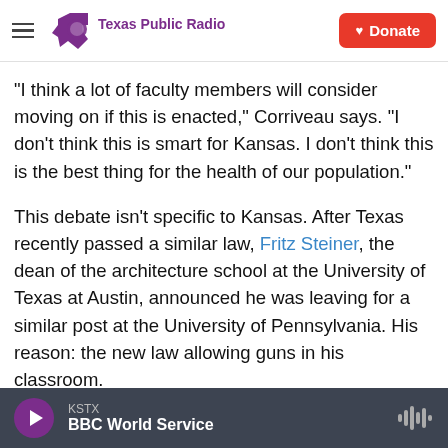Texas Public Radio — Donate
"I think a lot of faculty members will consider moving on if this is enacted," Corriveau says. "I don't think this is smart for Kansas. I don't think this is the best thing for the health of our population."
This debate isn't specific to Kansas. After Texas recently passed a similar law, Fritz Steiner, the dean of the architecture school at the University of Texas at Austin, announced he was leaving for a similar post at the University of Pennsylvania. His reason: the new law allowing guns in his classroom.
KSTX — BBC World Service